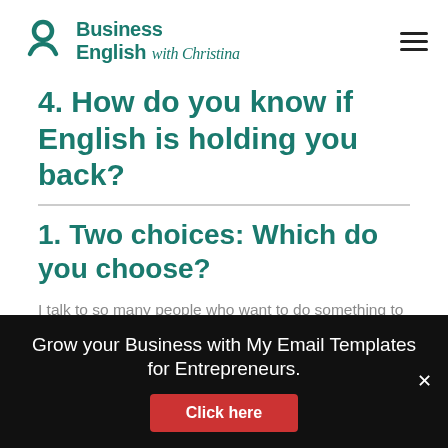Business English with Christina
4. How do you know if English is holding you back?
1. Two choices: Which do you choose?
I talk to so many people who want to do something to finally, truly solve their problems with English. But then, they say "I'm too busy", "I'll start in a few months"
Grow your Business with My Email Templates for Entrepreneurs.
Click here